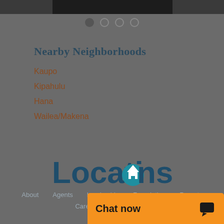[Figure (screenshot): Dark banner image at the top of the page, partially visible]
[Figure (infographic): Four pagination dots: first filled dark, remaining three as outlines]
Nearby Neighborhoods
Kaupo
Kipahulu
Hana
Wailea/Makena
[Figure (logo): Locations real estate company logo in dark teal/blue with house icon replacing the letter O]
About   Agents   Leadership   Foundation   Reports
Careers   Contact
Chat now